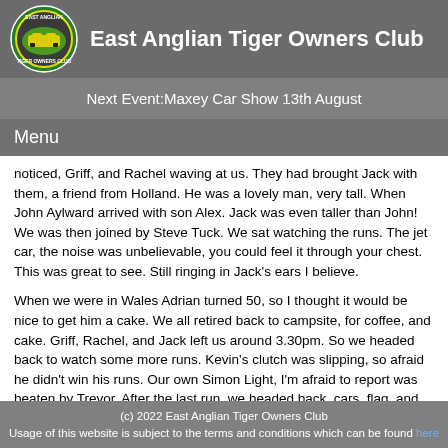East Anglian Tiger Owners Club
Next Event:Maxey Car Show 13th August
Menu
noticed, Griff, and Rachel waving at us. They had brought Jack with them, a friend from Holland. He was a lovely man, very tall. When John Aylward arrived with son Alex. Jack was even taller than John! We was then joined by Steve Tuck. We sat watching the runs. The jet car, the noise was unbelievable, you could feel it through your chest. This was great to see. Still ringing in Jack's ears I believe.
When we were in Wales Adrian turned 50, so I thought it would be nice to get him a cake. We all retired back to campsite, for coffee, and cake. Griff, Rachel, and Jack left us around 3.30pm. So we headed back to watch some more runs. Kevin's clutch was slipping, so afraid he didn't win his runs. Our own Simon Light, I'm afraid to report was beaten by Trevor. After the last run, we headed back, cars, flag, and all to the campsite.Simon Light was staying with us for the night. He pitched his tent, and Gazebo over his car. We again settled under Gazebo for night of humour. The rain was coming in a little, so Kevin, and Adrian held umbrellas. I noticed my leg was getting wet, so asked Adrian to swap places with me. He seemed
(c) 2022 East Anglian Tiger Owners Club
Usage of this website is subject to the terms and conditions which can be found here